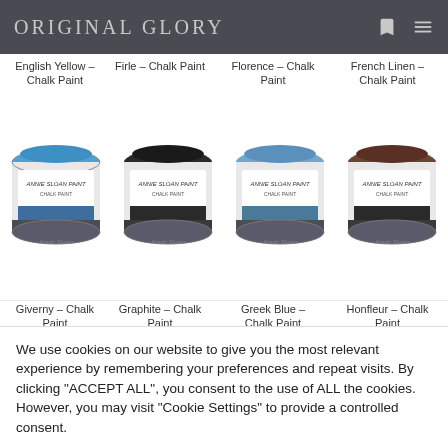ORIGINAL GLORY
English Yellow – Chalk Paint
Firle – Chalk Paint
Florence – Chalk Paint
French Linen – Chalk Paint
[Figure (photo): Four paint cans of Annie Sloan Chalk Paint: Giverny (blue), Graphite (dark grey/black), Greek Blue (medium blue), Honfleur (dark brown)]
Giverny – Chalk Paint
Graphite – Chalk Paint
Greek Blue – Chalk Paint
Honfleur – Chalk Paint
We use cookies on our website to give you the most relevant experience by remembering your preferences and repeat visits. By clicking "ACCEPT ALL", you consent to the use of ALL the cookies. However, you may visit "Cookie Settings" to provide a controlled consent.
Cookie Settings | REJECT ALL | ACCEPT ALL